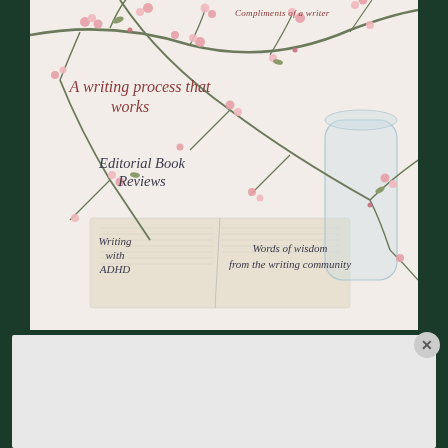[Figure (illustration): A book/magazine cover with a floral (cherry blossom branches with pink flowers) background over an open book and glass vase. Text overlaid includes a cursive heading at top right, 'A writing process that works', 'Editorial Book Reviews', 'Writing with ADHD', and 'Words of wisdom from the writing community'.]
Advertisements
Professionally designed sites in less than a week